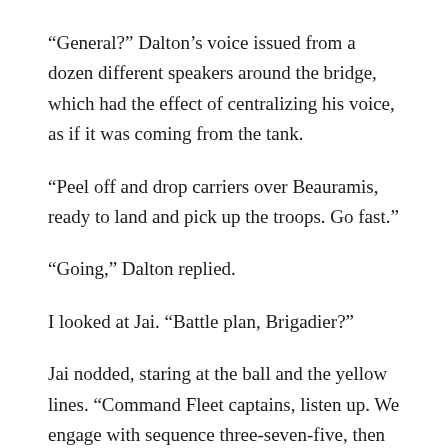“General?” Dalton’s voice issued from a dozen different speakers around the bridge, which had the effect of centralizing his voice, as if it was coming from the tank.
“Peel off and drop carriers over Beauramis, ready to land and pick up the troops. Go fast.”
“Going,” Dalton replied.
I looked at Jai. “Battle plan, Brigadier?”
Jai nodded, staring at the ball and the yellow lines. “Command Fleet captains, listen up. We engage with sequence three-seven-five, then roll into four-two-two. I’ll call after that. Acknowledge.”